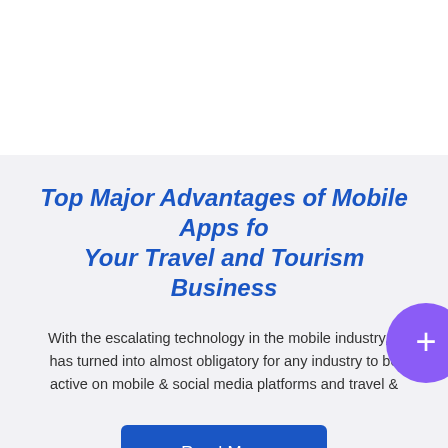Top Major Advantages of Mobile Apps for Your Travel and Tourism Business
With the escalating technology in the mobile industry, it has turned into almost obligatory for any industry to be active on mobile & social media platforms and travel &